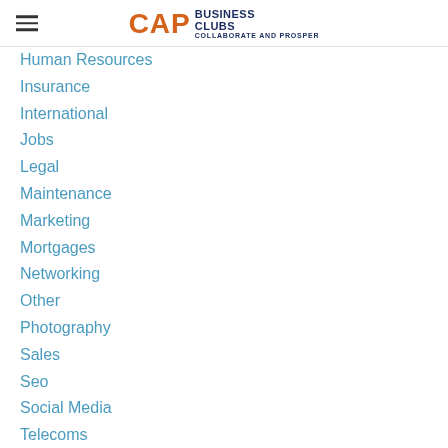CAP BUSINESS CLUBS — COLLABORATE AND PROSPER
Human Resources
Insurance
International
Jobs
Legal
Maintenance
Marketing
Mortgages
Networking
Other
Photography
Sales
Seo
Social Media
Telecoms
Training
CAP BUSINESS CLUBS BLOG